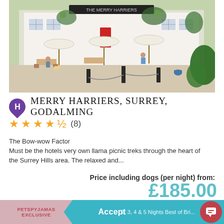[Figure (photo): Exterior photo of Merry Harriers pub/hotel in Surrey, Godalming. White painted building with outdoor seating, umbrellas, bollards with rope chains, and lush greenery.]
MERRY HARRIERS, SURREY, GODALMING
★★★★½ (8)
The Bow-wow Factor
Must be the hotels very own llama picnic treks through the heart of the Surrey Hills area. The relaxed and...
Price including dogs (per night) from:
£185.00
EXPLORE AND BOOK
By using this website, you agree to our cookie policy. We and our partners use cookies to offer you a better, more personalised website experience.
Accept
PETSPYJAMAS EXCLUSIVE
2, 3, 4 & 5 Nights Best of Bri... Package
Our Best of Britain...